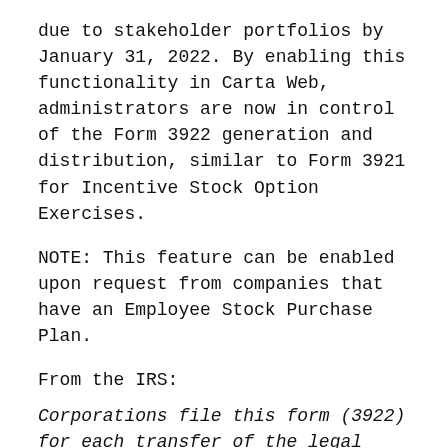due to stakeholder portfolios by January 31, 2022. By enabling this functionality in Carta Web, administrators are now in control of the Form 3922 generation and distribution, similar to Form 3921 for Incentive Stock Option Exercises.
NOTE: This feature can be enabled upon request from companies that have an Employee Stock Purchase Plan.
From the IRS:
Corporations file this form (3922) for each transfer of the legal title of a share of stock acquired by the employee pursuant to the employee's exercise of an option granted under an employee stock purchase plan and described in section 423(c) (where the